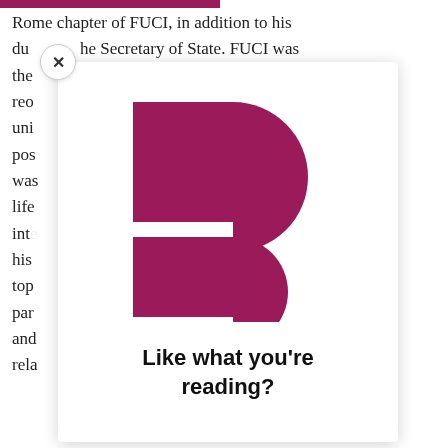Rome chapter of FUCI, in addition to his duties as the Secretary of State. FUCI was the principal Catholic youth recently reorganized. He hoped it would acquire a unified profile and find like-minded real positions for the academically oriented movements; he was notable for supporting the spiritual life of his students, developing their intellectual curiosity. He directed his students to tackle the fundamental topics of philosophy, history, literature, particularly theological dimensions, and relationships
[Figure (logo): Stylized letter F logo made of dark magenta/maroon shapes: a rectangular block with a half-circle on top right, and a smaller rectangle with a half-circle to its right, forming the letter F.]
Like what you're reading?